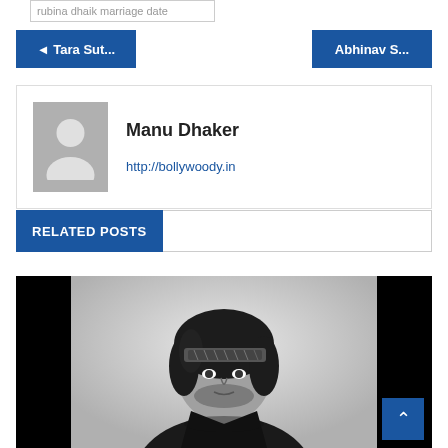rubina dhaik marriage date
◄ Tara Sut...
Abhinav S...
Manu Dhaker
http://bollywoody.in
RELATED POSTS
[Figure (photo): Black and white photo of a man with long dark hair wearing a patterned bandana headband and leather jacket, looking intensely at the camera]